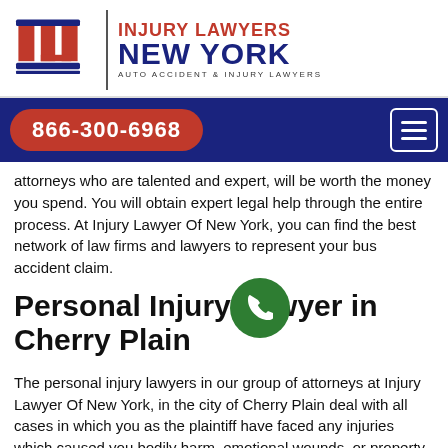[Figure (logo): Injury Lawyers New York logo with IL emblem and text: INJURY LAWYERS NEW YORK AUTO ACCIDENT & INJURY LAWYERS]
866-300-6968
attorneys who are talented and expert, will be worth the money you spend. You will obtain expert legal help through the entire process. At Injury Lawyer Of New York, you can find the best network of law firms and lawyers to represent your bus accident claim.
Personal Injury Lawyer in Cherry Plain
The personal injury lawyers in our group of attorneys at Injury Lawyer Of New York, in the city of Cherry Plain deal with all cases in which you as the plaintiff have faced any injuries which caused you bodily harm, emotional wounds, or property loss. Hiring any law firm among our Personal Injury Attorneys group, assures you of the best legal assistance possible.